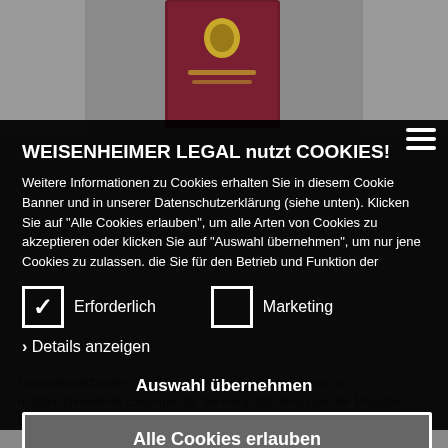[Figure (screenshot): Background photo showing a dark red Austrian passport against a grey background, partially visible at top of page]
WEISENHEIMER LEGAL nutzt COOKIES!
Weitere Informationen zu Cookies erhalten Sie in diesem Cookie Banner und in unserer Datenschutzerklärung (siehe unten). Klicken Sie auf "Alle Cookies erlauben", um alle Arten von Cookies zu akzeptieren oder klicken Sie auf "Auswahl übernehmen", um nur jene Cookies zu zulassen. die Sie für den Betrieb und Funktion der
Erforderlich (checked)
Marketing (unchecked)
› Details anzeigen
Auswahl übernehmen
Alle Cookies erlauben
Unannehmlichkeiten und Bürokratie zu erreichen, indem wir maßgeschneiderte Lösungen für die Herausforderungen der Migration liefern.